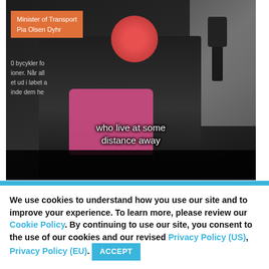[Figure (screenshot): Video screenshot showing a woman (Minister of Transport Pia Olsen Dyhr) speaking at a microphone, with an orange name-tag overlay, Danish text visible on the left, and subtitle text reading 'who live at some distance away'. Face is blurred/redacted.]
We use cookies to understand how you use our site and to improve your experience. To learn more, please review our Cookie Policy. By continuing to use our site, you consent to the use of our cookies and our revised Privacy Policy (US), Privacy Policy (EU). ACCEPT